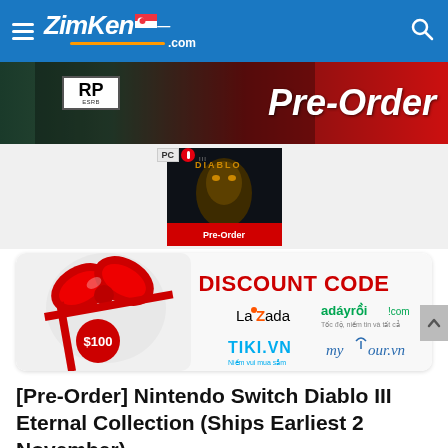ZimKen.com
[Figure (screenshot): Pre-Order banner with ESRB RP rating badge on dark background with red accent]
[Figure (screenshot): Nintendo Switch Diablo III Eternal Collection game box art with Pre-Order label]
[Figure (screenshot): Discount Code promotional banner showing Lazada, adayroicom, Tiki.VN, mytour.vn logos with $100 gift box]
[Pre-Order] Nintendo Switch Diablo III Eternal Collection (Ships Earliest 2 November)